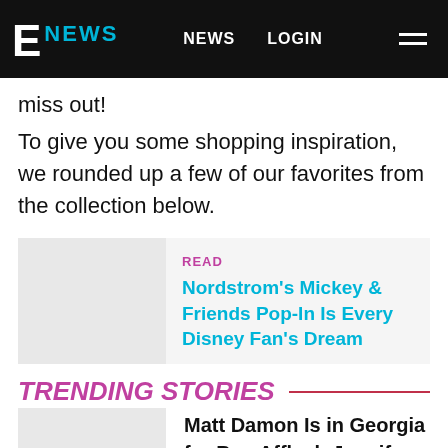E! NEWS   NEWS   LOGIN
miss out!
To give you some shopping inspiration, we rounded up a few of our favorites from the collection below.
READ
Nordstrom's Mickey & Friends Pop-In Is Every Disney Fan's Dream
TRENDING STORIES
Matt Damon Is in Georgia for Ben Affleck-Jennifer Lopez Wedding